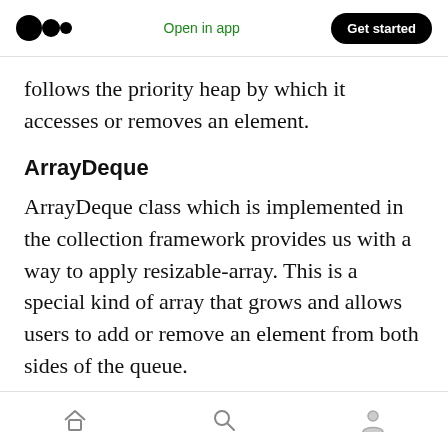Medium logo | Open in app | Get started
follows the priority heap by which it accesses or removes an element.
ArrayDeque
ArrayDeque class which is implemented in the collection framework provides us with a way to apply resizable-array. This is a special kind of array that grows and allows users to add or remove an element from both sides of the queue.
Map Interface
Map Interface is used when we need to perform
Home | Search | Profile